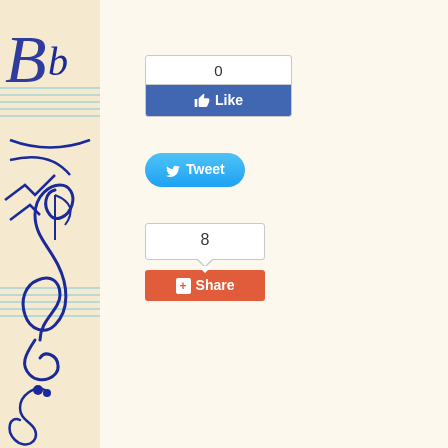[Figure (illustration): Left decorative panel with music notes and staff lines on aged paper background. Shows handwritten-style musical notation including treble clef, flat symbol, and other music symbols in dark blue ink.]
[Figure (screenshot): Facebook Like button widget showing count of 0 above a blue Like button with thumbs up icon]
[Figure (screenshot): Twitter Tweet button in blue with bird icon]
[Figure (screenshot): Google+ Share button widget showing count of 8 in a bubble above an orange Share button with plus icon]